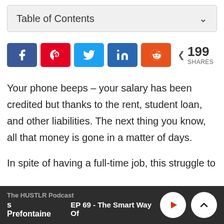Table of Contents
[Figure (infographic): Social share buttons row: Facebook, Pinterest, Twitter, LinkedIn, Reddit, with 199 shares count]
Your phone beeps – your salary has been credited but thanks to the rent, student loan, and other liabilities. The next thing you know, all that money is gone in a matter of days.
In spite of having a full-time job, this struggle to
The HUSTLR Podcast | s Prefontaine | EP 69 - The Smart Way Of